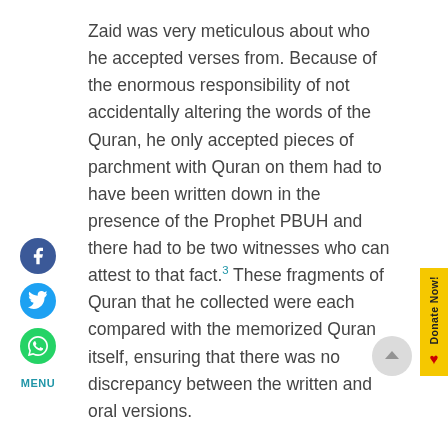Zaid was very meticulous about who he accepted verses from. Because of the enormous responsibility of not accidentally altering the words of the Quran, he only accepted pieces of parchment with Quran on them had to have been written down in the presence of the Prophet PBUH and there had to be two witnesses who can attest to that fact.³ These fragments of Quran that he collected were each compared with the memorized Quran itself, ensuring that there was no discrepancy between the written and oral versions.